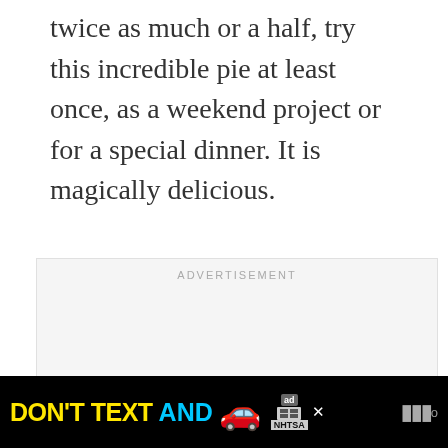twice as much or a half, try this incredible pie at least once, as a weekend project or for a special dinner. It is magically delicious.
[Figure (screenshot): Advertisement placeholder box with 'ADVERTISEMENT' label centered at top, social interaction buttons (heart, count 3, share) on right side, and a 'WHAT'S NEXT → tomato nuns' card at bottom right]
[Figure (screenshot): Bottom banner ad: 'DON'T TEXT AND [car emoji]' with NHTSA logo and ad badge, plus WW logo on right]